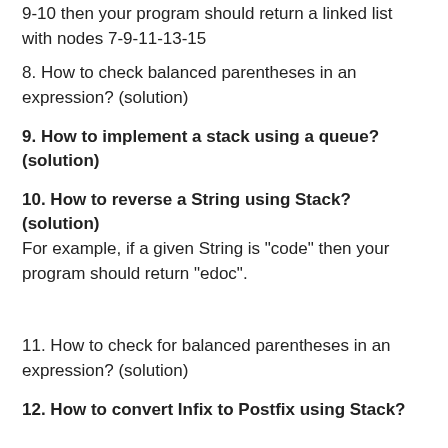9-10 then your program should return a linked list with nodes 7-9-11-13-15
8. How to check balanced parentheses in an expression? (solution)
9. How to implement a stack using a queue? (solution)
10. How to reverse a String using Stack? (solution) For example, if a given String is "code" then your program should return "edoc".
11. How to check for balanced parentheses in an expression? (solution)
12. How to convert Infix to Postfix using Stack?